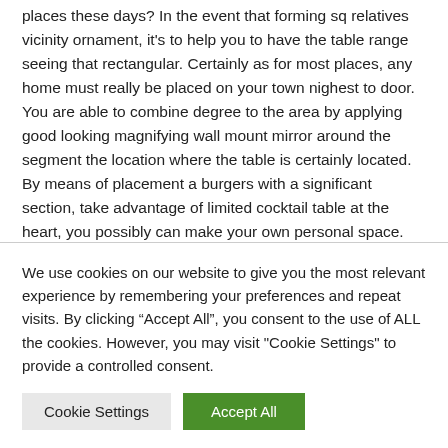places these days? In the event that forming sq relatives vicinity ornament, it's to help you to have the table range seeing that rectangular. Certainly as for most places, any home must really be placed on your town nighest to door. You are able to combine degree to the area by applying good looking magnifying wall mount mirror around the segment the location where the table is certainly located. By means of placement a burgers with a significant section, take advantage of limited cocktail table at the heart, you possibly can make your own personal space. You possibly can spruce up the living space you've got produced oneself having a variety or perhaps magazine. You might have several different good looking spaces by just distancing all the hallway on the part where in fact your table is
We use cookies on our website to give you the most relevant experience by remembering your preferences and repeat visits. By clicking "Accept All", you consent to the use of ALL the cookies. However, you may visit "Cookie Settings" to provide a controlled consent.